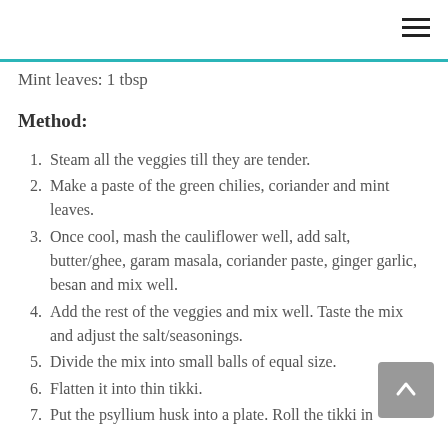Mint leaves: 1 tbsp
Method:
Steam all the veggies till they are tender.
Make a paste of the green chilies, coriander and mint leaves.
Once cool, mash the cauliflower well, add salt, butter/ghee, garam masala, coriander paste, ginger garlic, besan and mix well.
Add the rest of the veggies and mix well. Taste the mix and adjust the salt/seasonings.
Divide the mix into small balls of equal size.
Flatten it into thin tikki.
Put the psyllium husk into a plate. Roll the tikki in